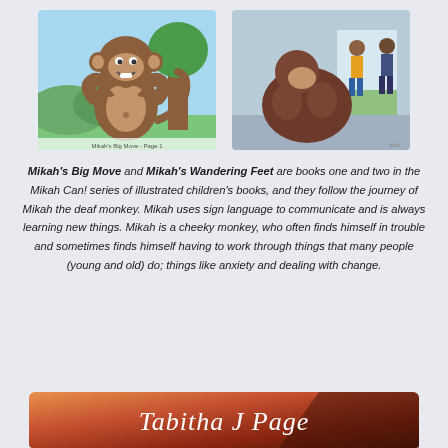[Figure (illustration): Illustrated cartoon monkey making a heart shape with its hands, outdoors background with trees and sky]
[Figure (illustration): Illustrated character sitting huddled with knees up in a public place, people standing in background]
Mikah's Big Move and Mikah's Wandering Feet are books one and two in the Mikah Can! series of illustrated children's books, and they follow the journey of Mikah the deaf monkey. Mikah uses sign language to communicate and is always learning new things. Mikah is a cheeky monkey, who often finds himself in trouble and sometimes finds himself having to work through things that many people (young and old) do; things like anxiety and dealing with change.
[Figure (illustration): Banner with warm orange-red gradient background showing the text 'Tabitha J Page' in white italic font]